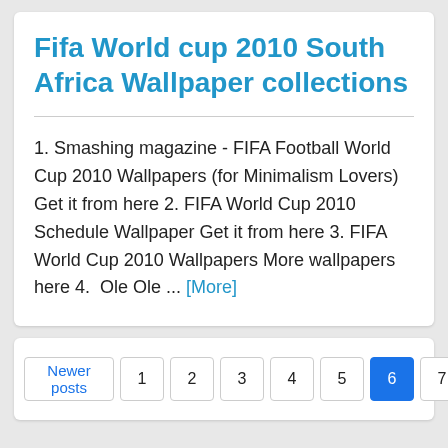Fifa World cup 2010 South Africa Wallpaper collections
1. Smashing magazine - FIFA Football World Cup 2010 Wallpapers (for Minimalism Lovers) Get it from here 2. FIFA World Cup 2010 Schedule Wallpaper Get it from here 3. FIFA World Cup 2010 Wallpapers More wallpapers here 4.  Ole Ole ... [More]
Newer posts
1
2
3
4
5
6
7
Older posts